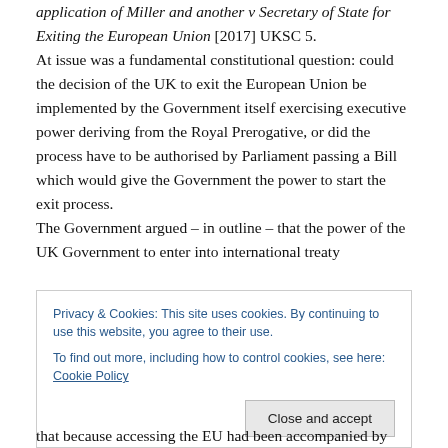application of Miller and another v Secretary of State for Exiting the European Union [2017] UKSC 5.
At issue was a fundamental constitutional question: could the decision of the UK to exit the European Union be implemented by the Government itself exercising executive power deriving from the Royal Prerogative, or did the process have to be authorised by Parliament passing a Bill which would give the Government the power to start the exit process.
The Government argued – in outline – that the power of the UK Government to enter into international treaty
Privacy & Cookies: This site uses cookies. By continuing to use this website, you agree to their use.
To find out more, including how to control cookies, see here: Cookie Policy
that because accessing the EU had been accompanied by